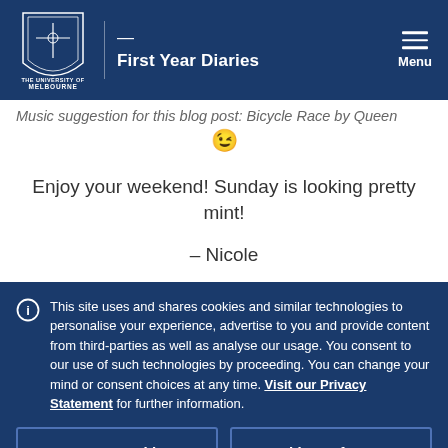First Year Diaries
Music suggestion for this blog post: Bicycle Race by Queen 😉
Enjoy your weekend! Sunday is looking pretty mint!
– Nicole
This site uses and shares cookies and similar technologies to personalise your experience, advertise to you and provide content from third-parties as well as analyse our usage. You consent to our use of such technologies by proceeding. You can change your mind or consent choices at any time. Visit our Privacy Statement for further information.